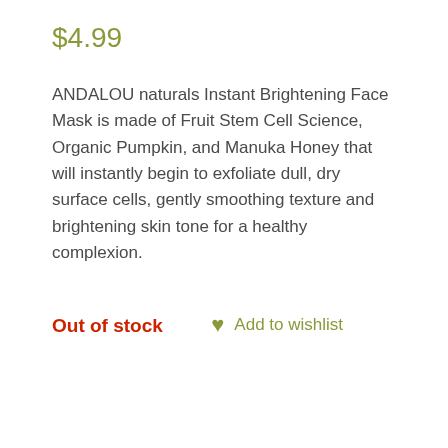$4.99
ANDALOU naturals Instant Brightening Face Mask is made of Fruit Stem Cell Science, Organic Pumpkin, and Manuka Honey that will instantly begin to exfoliate dull, dry surface cells, gently smoothing texture and brightening skin tone for a healthy complexion.
Out of stock
Add to wishlist